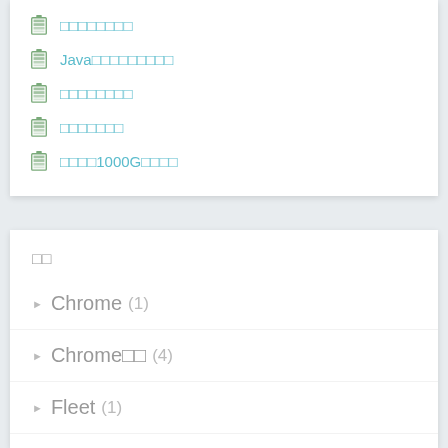□□□□□□□□
Java□□□□□□□□□
□□□□□□□□
□□□□□□□
□□□□1000G□□□□
□□
Chrome (1)
Chrome□□ (4)
Fleet (1)
Git (7)